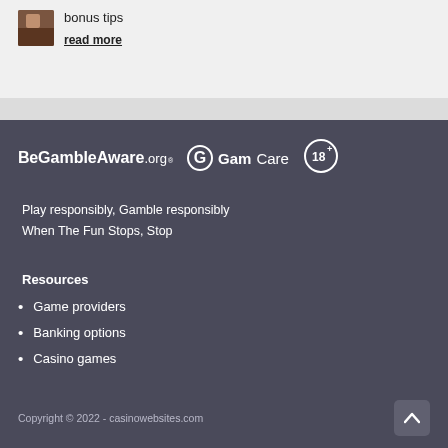bonus tips
read more
[Figure (logo): BeGambleAware.org logo in white text]
[Figure (logo): GamCare logo with G icon in white]
[Figure (logo): 18+ age restriction logo circle in white]
Play responsibly, Gamble responsibly
When The Fun Stops, Stop
Resources
Game providers
Banking options
Casino games
Copyright © 2022 - casinowebsites.com